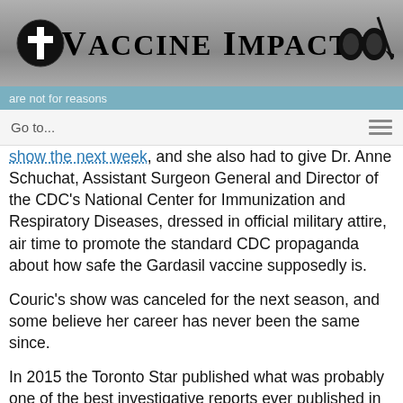Vaccine Impact
show the next week, and she also had to give Dr. Anne Schuchat, Assistant Surgeon General and Director of the CDC’s National Center for Immunization and Respiratory Diseases, dressed in official military attire, air time to promote the standard CDC propaganda about how safe the Gardasil vaccine supposedly is.
Couric’s show was canceled for the next season, and some believe her career has never been the same since.
In 2015 the Toronto Star published what was probably one of the best investigative reports ever published in a corporate mainstream media publication about  the Gardasil vaccine, but the editors were pressured to remove the article from their website. Health Impact News contacted the journalists who wrote the report, as well as